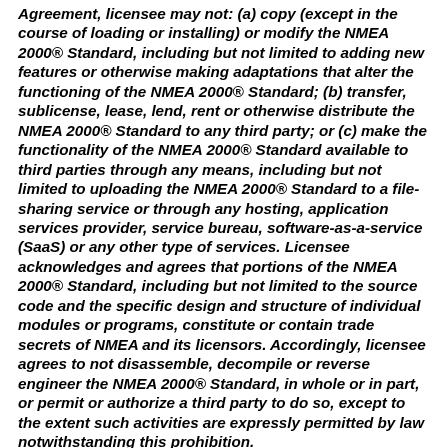Agreement, licensee may not: (a) copy (except in the course of loading or installing) or modify the NMEA 2000® Standard, including but not limited to adding new features or otherwise making adaptations that alter the functioning of the NMEA 2000® Standard; (b) transfer, sublicense, lease, lend, rent or otherwise distribute the NMEA 2000® Standard to any third party; or (c) make the functionality of the NMEA 2000® Standard available to third parties through any means, including but not limited to uploading the NMEA 2000® Standard to a file-sharing service or through any hosting, application services provider, service bureau, software-as-a-service (SaaS) or any other type of services. Licensee acknowledges and agrees that portions of the NMEA 2000® Standard, including but not limited to the source code and the specific design and structure of individual modules or programs, constitute or contain trade secrets of NMEA and its licensors. Accordingly, licensee agrees to not disassemble, decompile or reverse engineer the NMEA 2000® Standard, in whole or in part, or permit or authorize a third party to do so, except to the extent such activities are expressly permitted by law notwithstanding this prohibition.